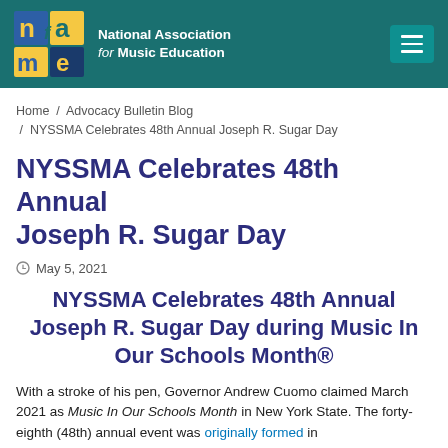National Association for Music Education
Home / Advocacy Bulletin Blog / NYSSMA Celebrates 48th Annual Joseph R. Sugar Day
NYSSMA Celebrates 48th Annual Joseph R. Sugar Day
May 5, 2021
NYSSMA Celebrates 48th Annual Joseph R. Sugar Day during Music In Our Schools Month®
With a stroke of his pen, Governor Andrew Cuomo claimed March 2021 as Music In Our Schools Month in New York State. The forty-eighth (48th) annual event was originally formed in